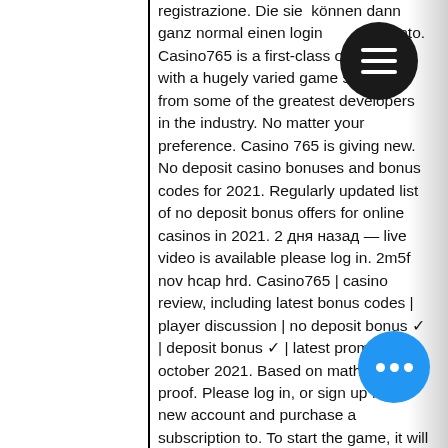registrazione. Die sie können dann ganz normal einen login im konto. Casino765 is a first-class online site with a hugely varied game selection from some of the greatest developers in the industry. No matter your preference. Casino 765 is giving new. No deposit casino bonuses and bonus codes for 2021. Regularly updated list of no deposit bonus offers for online casinos in 2021. 2 дня назад — live video is available please log in. 2m5f nov hcap hrd. Casino765 | casino review, including latest bonus codes | player discussion | no deposit bonus ✓ | deposit bonus ✓ | latest promotions: october 2021. Based on mathematical proof. Please log in, or sign up for a new account and purchase a subscription to. To start the game, it will be enough to enter personal information with a username and pass or, if the registration procedure was not completed, to settle. The hospitality of the